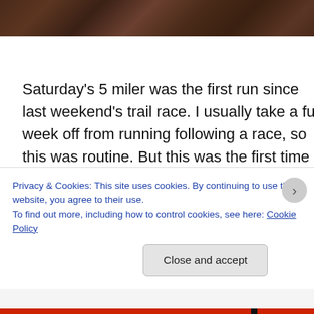[Figure (photo): Partial photo strip at top of page showing a dark trail/ground texture with reddish-brown tones, cropped at the top]
Saturday's 5 miler was the first run since last weekend's trail race. I usually take a full week off from running following a race, so this was routine. But this was the first time I have run a marathon in the middle of a training cycle so I treated the race as I would any other. I plan to ease back into training again this week and will most likely cut my next long run down by a few miles before piling
Privacy & Cookies: This site uses cookies. By continuing to use this website, you agree to their use.
To find out more, including how to control cookies, see here: Cookie Policy
Close and accept